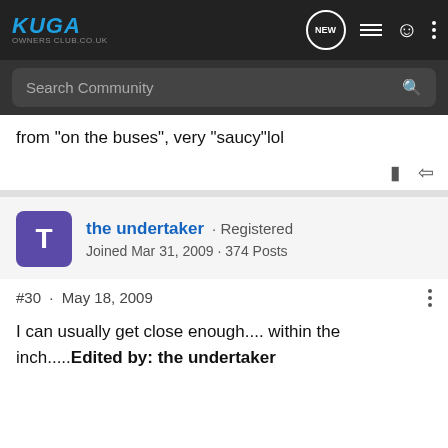[Figure (screenshot): Kuga Owners Club website navigation bar with logo, search, and icons]
from "on the buses", very "saucy"lol
the undertaker · Registered
Joined Mar 31, 2009 · 374 Posts
#30 · May 18, 2009
I can usually get close enough.... within the inch.....Edited by: the undertaker